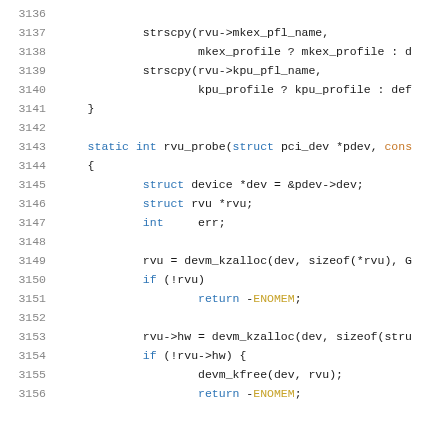[Figure (screenshot): Source code listing showing lines 3136-3156 of a C source file. The code shows strscpy calls, a closing brace, and a rvu_probe function definition with memory allocation logic using devm_kzalloc and error handling.]